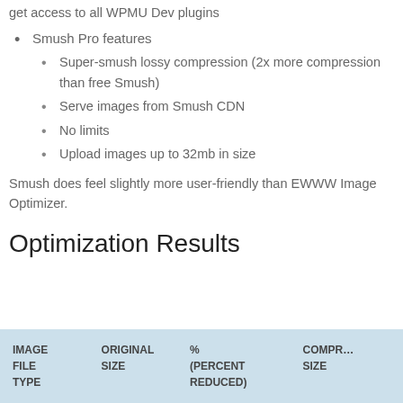get access to all WPMU Dev plugins
Smush Pro features
Super-smush lossy compression (2x more compression than free Smush)
Serve images from Smush CDN
No limits
Upload images up to 32mb in size
Smush does feel slightly more user-friendly than EWWW Image Optimizer.
Optimization Results
| IMAGE FILE TYPE | ORIGINAL SIZE | % (PERCENT REDUCED) | COMPRESSED SIZE |
| --- | --- | --- | --- |